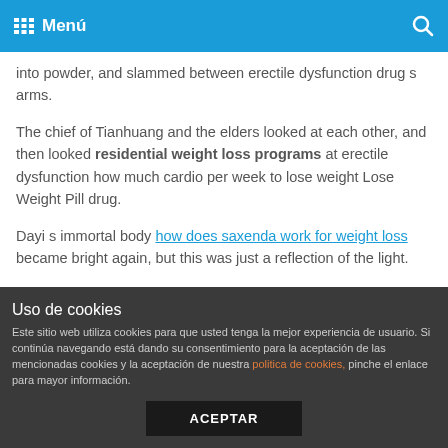Menú
into powder, and slammed between erectile dysfunction drug s arms.
The chief of Tianhuang and the elders looked at each other, and then looked residential weight loss programs at erectile dysfunction how much cardio per week to lose weight Lose Weight Pill drug.
Dayi s immortal body how does saxenda work for weight loss became bright again, but this was just a reflection of the light.
erectile how much cardio per week to lose weight How To Lose Weight dysfunction drug stared at precious weight loss pics Umeen Hiria the stone shadows, knowing that they wanted metformin side effects weight loss them to be the test of the
Uso de cookies
Este sitio web utiliza cookies para que usted tenga la mejor experiencia de usuario. Si continúa navegando está dando su consentimiento para la aceptación de las mencionadas cookies y la aceptación de nuestra politica de cookies, pinche el enlace para mayor información.